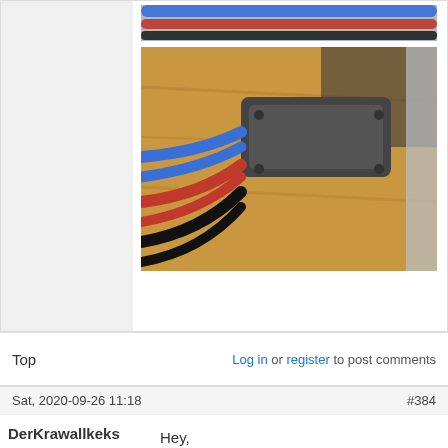[Figure (photo): Top portion of post showing colored wires (blue, red, black) at top]
[Figure (photo): Photo of a 3D printed black plastic cable management piece on a wooden surface with multiple colored wires (blue, red, black) running through it]
Top
Log in or register to post comments
Sat, 2020-09-26 11:18
#384
DerKrawallkeks
[Figure (illustration): Cartoon bee avatar holding something]
Hey,

Looks very promising! What's the 3D printed rubber material you used for the spacer, TPU?